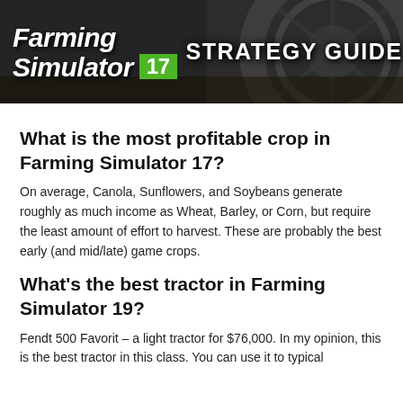[Figure (illustration): Farming Simulator 17 Strategy Guide banner with tractor wheel background image and logo text]
What is the most profitable crop in Farming Simulator 17?
On average, Canola, Sunflowers, and Soybeans generate roughly as much income as Wheat, Barley, or Corn, but require the least amount of effort to harvest. These are probably the best early (and mid/late) game crops.
What's the best tractor in Farming Simulator 19?
Fendt 500 Favorit – a light tractor for $76,000. In my opinion, this is the best tractor in this class. You can use it to typical